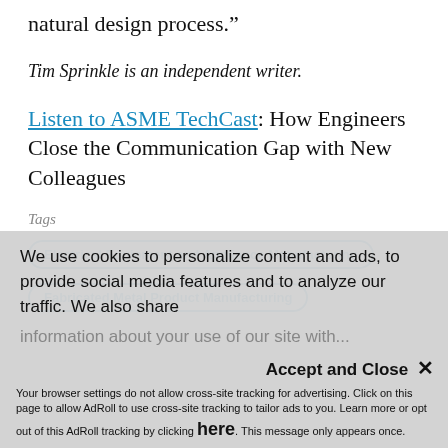natural design process.”
Tim Sprinkle is an independent writer.
Listen to ASME TechCast: How Engineers Close the Communication Gap with New Colleagues
Tags
Electrical Equipment and Appliance Manufacturing
Fabricated Metal Product Manufacturing
We use cookies to personalize content and ads, to provide social media features and to analyze our traffic. We also share information about your use of our site with...
Accept and Close ×
Your browser settings do not allow cross-site tracking for advertising. Click on this page to allow AdRoll to use cross-site tracking to tailor ads to you. Learn more or opt out of this AdRoll tracking by clicking here. This message only appears once.